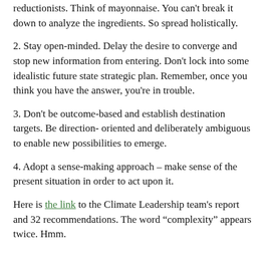reductionists. Think of mayonnaise. You can't break it down to analyze the ingredients. So spread holistically.
2. Stay open-minded. Delay the desire to converge and stop new information from entering. Don't lock into some idealistic future state strategic plan. Remember, once you think you have the answer, you're in trouble.
3. Don't be outcome-based and establish destination targets. Be direction- oriented and deliberately ambiguous to enable new possibilities to emerge.
4. Adopt a sense-making approach – make sense of the present situation in order to act upon it.
Here is the link to the Climate Leadership team's report and 32 recommendations. The word “complexity” appears twice. Hmm.